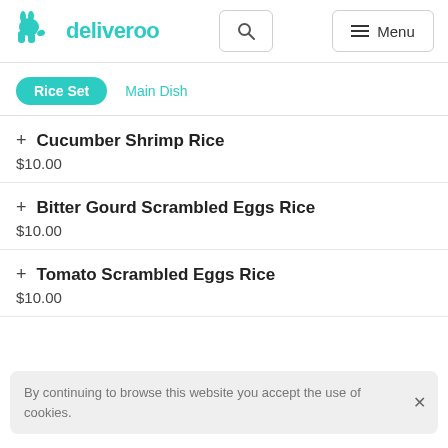deliveroo
Rice Set
Main Dish
+ Cucumber Shrimp Rice
$10.00
+ Bitter Gourd Scrambled Eggs Rice
$10.00
+ Tomato Scrambled Eggs Rice
$10.00
+ Chuanxiang Potato Silk Rice
$10.00
By continuing to browse this website you accept the use of cookies.